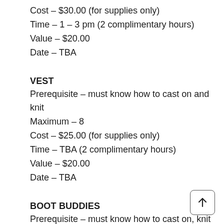Cost – $30.00 (for supplies only)
Time – 1 – 3 pm (2 complimentary hours)
Value – $20.00
Date – TBA
VEST
Prerequisite – must know how to cast on and knit
Maximum – 8
Cost – $25.00 (for supplies only)
Time – TBA (2 complimentary hours)
Value – $20.00
Date – TBA
BOOT BUDDIES
Prerequisite – must know how to cast on, knit and purl
Maximum – 8